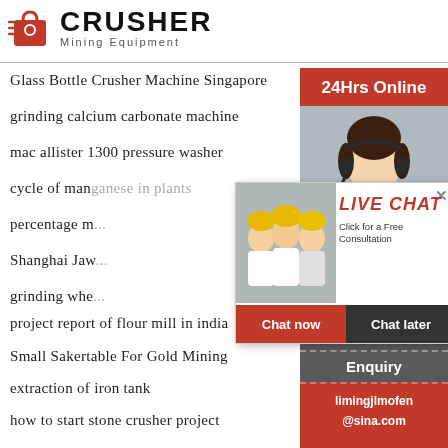[Figure (logo): Crusher Mining Equipment logo with red shopping bag icon and bold CRUSHER text]
Glass Bottle Crusher Machine Singapore
grinding calcium carbonate machine
mac allister 1300 pressure washer
cycle of manganese in plants
percentage m...
Shanghai Jaw...
grinding whe...
project report of flour mill in india
Small Sakertable For Gold Mining
extraction of iron tank
how to start stone crusher project
[Figure (screenshot): Sidebar with 24Hrs Online header, customer service representative photo, Need questions & suggestion text, Chat Now button, Enquiry section, limingjlmofen@sina.com email]
[Figure (screenshot): Live Chat popup overlay with workers in hard hats photo, LIVE CHAT text, Click for a Free Consultation, Chat now and Chat later buttons]